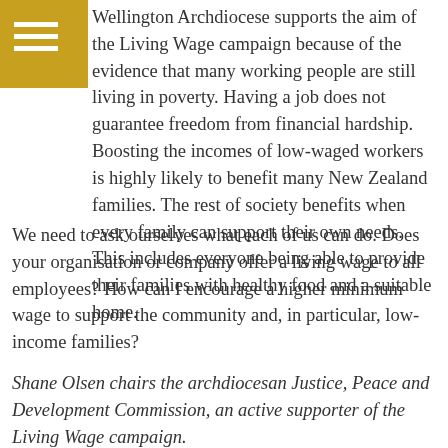Wellington Archdiocese supports the aim of the Living Wage campaign because of the evidence that many working people are still living in poverty. Having a job does not guarantee freedom from financial hardship. Boosting the incomes of low-waged workers is highly likely to benefit many New Zealand families. The rest of society benefits when every family can support their own needs. This includes everyone being able to provide their families with healthy food and a suitable home.
We need to ask ourselves what each of us can do. Does your organisation or company offer a living wage to all employees? How can I encourage a higher minimum wage to support the community and, in particular, low-income families?
Shane Olsen chairs the archdiocesan Justice, Peace and Development Commission, an active supporter of the Living Wage campaign.